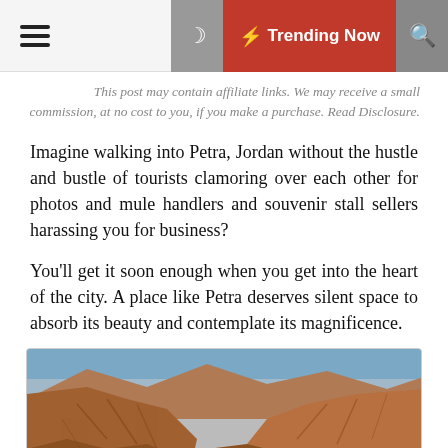≡ ☽ ⚡ Trending Now 🔍
This post may contain affiliate links. We may receive a small commission, at no cost to you, if you make a purchase. Read Disclosure.
Imagine walking into Petra, Jordan without the hustle and bustle of tourists clamoring over each other for photos and mule handlers and souvenir stall sellers harassing you for business?
You'll get it soon enough when you get into the heart of the city. A place like Petra deserves silent space to absorb its beauty and contemplate its magnificence.
[Figure (photo): Rocky canyon landscape of Petra, Jordan showing tall sandstone cliffs with warm reddish-brown tones, blue sky visible at top left.]